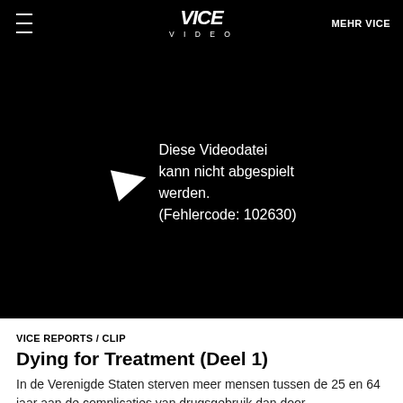≡  VICE VIDEO  MEHR VICE
[Figure (screenshot): Video player showing error: Diese Videodatei kann nicht abgespielt werden. (Fehlercode: 102630)]
VICE REPORTS / CLIP
Dying for Treatment (Deel 1)
In de Verenigde Staten sterven meer mensen tussen de 25 en 64 jaar aan de complicaties van drugsgebruik dan door verkeersongelukken. Volgens een onderzoek dat in 2009 werd